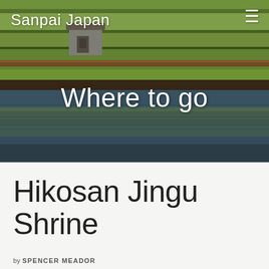[Figure (photo): Aerial/landscape photo of Japanese rice paddy fields with a small shrine structure visible among the greenery, with reflections in water. The image is split horizontally — top half shows rice fields from above, bottom half shows a reflection in still water. Text overlays include site branding and category label.]
Sanpai Japan
Where to go
Hikosan Jingu Shrine
by SPENCER MEADOR